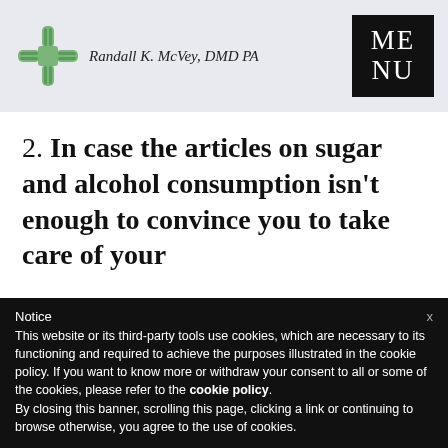[Figure (logo): Randall K. McVey, DMD PA logo with green cross/plus symbol]
[Figure (other): Black square MENU button with white text ME / NU]
2. In case the articles on sugar and alcohol consumption isn't enough to convince you to take care of your
Notice
This website or its third-party tools use cookies, which are necessary to its functioning and required to achieve the purposes illustrated in the cookie policy. If you want to know more or withdraw your consent to all or some of the cookies, please refer to the cookie policy.
By closing this banner, scrolling this page, clicking a link or continuing to browse otherwise, you agree to the use of cookies.